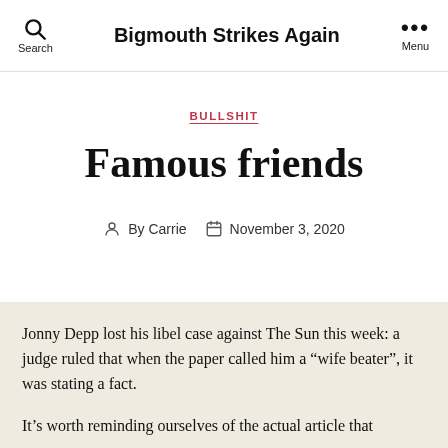Bigmouth Strikes Again
BULLSHIT
Famous friends
By Carrie   November 3, 2020
Jonny Depp lost his libel case against The Sun this week: a judge ruled that when the paper called him a “wife beater”, it was stating a fact.
It’s worth reminding ourselves of the actual article that